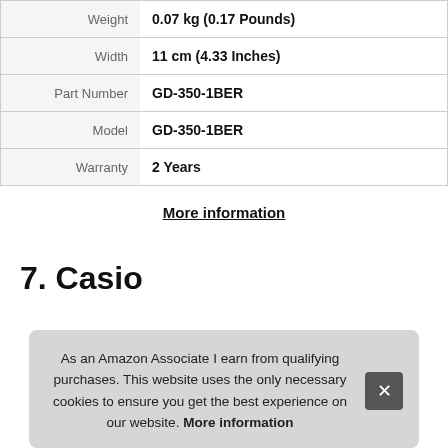| Weight | 0.07 kg (0.17 Pounds) |
| Width | 11 cm (4.33 Inches) |
| Part Number | GD-350-1BER |
| Model | GD-350-1BER |
| Warranty | 2 Years |
More information
7. Casio
As an Amazon Associate I earn from qualifying purchases. This website uses the only necessary cookies to ensure you get the best experience on our website. More information